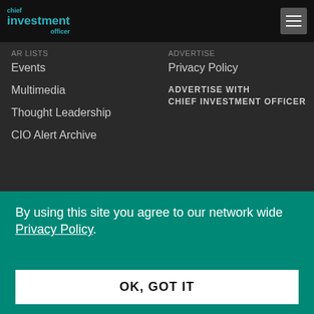[Figure (logo): Chief Investment Officer logo in teal/cyan text on black background]
Events
Multimedia
Thought Leadership
CIO Alert Archive
Privacy Policy
ADVERTISE WITH CHIEF INVESTMENT OFFICER
By using this site you agree to our network wide Privacy Policy.
OK, GOT IT